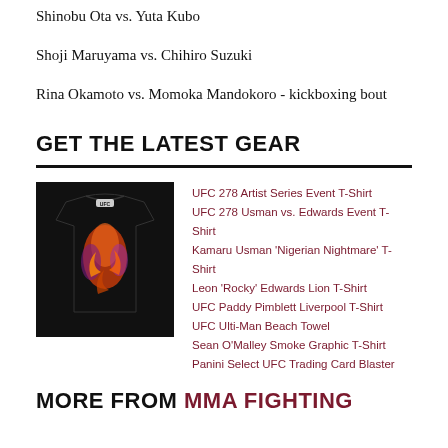Shinobu Ota vs. Yuta Kubo
Shoji Maruyama vs. Chihiro Suzuki
Rina Okamoto vs. Momoka Mandokoro - kickboxing bout
GET THE LATEST GEAR
[Figure (photo): Black UFC event t-shirt with colorful graphic art featuring fighter imagery in orange and purple tones]
UFC 278 Artist Series Event T-Shirt
UFC 278 Usman vs. Edwards Event T-Shirt
Kamaru Usman 'Nigerian Nightmare' T-Shirt
Leon 'Rocky' Edwards Lion T-Shirt
UFC Paddy Pimblett Liverpool T-Shirt
UFC Ulti-Man Beach Towel
Sean O'Malley Smoke Graphic T-Shirt
Panini Select UFC Trading Card Blaster
MORE FROM MMA FIGHTING